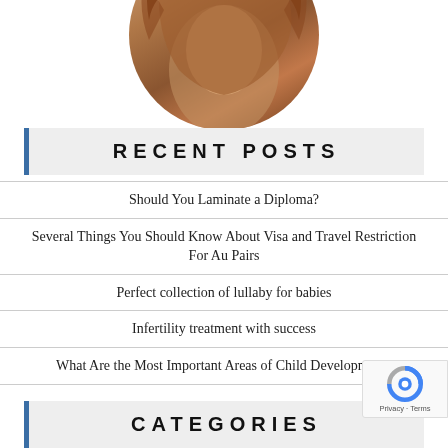[Figure (photo): Circular cropped photo of a woman with long reddish-brown wavy hair, partially visible at top of page]
RECENT POSTS
Should You Laminate a Diploma?
Several Things You Should Know About Visa and Travel Restriction For Au Pairs
Perfect collection of lullaby for babies
Infertility treatment with success
What Are the Most Important Areas of Child Development?
CATEGORIES